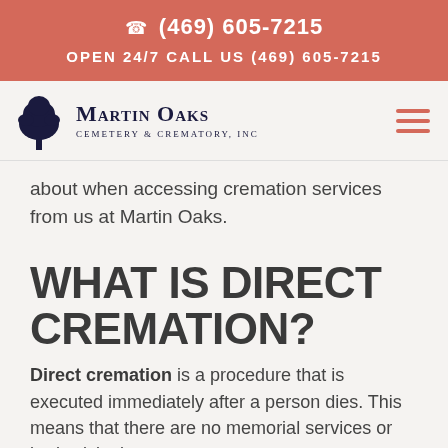☎ (469) 605-7215
OPEN 24/7 CALL US (469) 605-7215
[Figure (logo): Martin Oaks Cemetery & Crematory, Inc. logo with tree icon]
about when accessing cremation services from us at Martin Oaks.
WHAT IS DIRECT CREMATION?
Direct cremation is a procedure that is executed immediately after a person dies. This means that there are no memorial services or body visitation